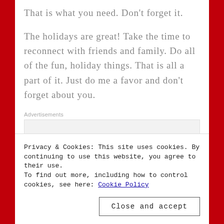That is what you need.  Don't forget it.
The holidays are great!  Take the time to reconnect with friends and family.  Do all of the fun, holiday things.  That is all a part of it.  Just do me a favor and don't forget about you.
Advertisements
[Figure (other): P2 advertisement banner: icon with 'P2' label and tagline 'Getting your team on the same page is easy. And free.']
Take some down time.
Privacy & Cookies: This site uses cookies. By continuing to use this website, you agree to their use.
To find out more, including how to control cookies, see here: Cookie Policy